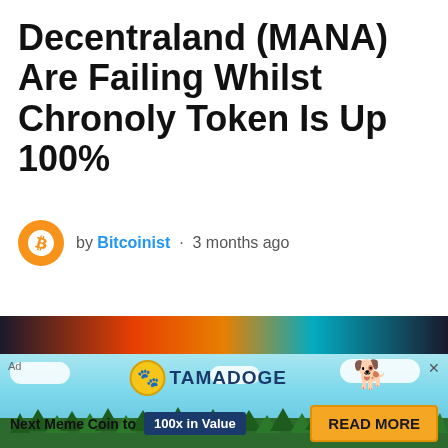Decentraland (MANA) Are Failing Whilst Chronoly Token Is Up 100%
by Bitcoinist · 3 months ago
[Figure (screenshot): Dark colorful banner strip from a cryptocurrency article]
[Figure (infographic): Tamadoge advertisement banner with sky background, coin logo, pixel dog, text 'Next Meme Coin to 100x in Value' and 'READ MORE' button]